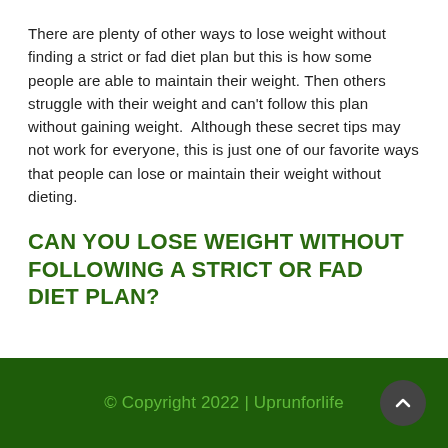There are plenty of other ways to lose weight without finding a strict or fad diet plan but this is how some people are able to maintain their weight. Then others struggle with their weight and can't follow this plan without gaining weight.  Although these secret tips may not work for everyone, this is just one of our favorite ways that people can lose or maintain their weight without dieting.
CAN YOU LOSE WEIGHT WITHOUT FOLLOWING A STRICT OR FAD DIET PLAN?
© Copyright 2022 | Uprunforlife